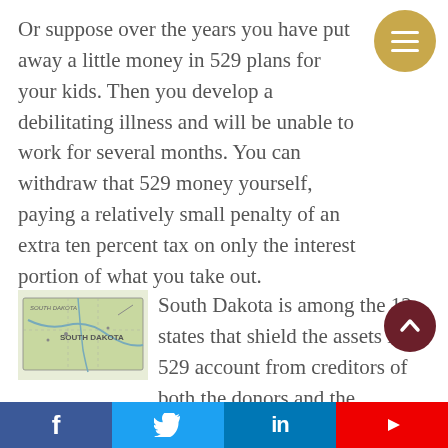Or suppose over the years you have put away a little money in 529 plans for your kids. Then you develop a debilitating illness and will be unable to work for several months. You can withdraw that 529 money yourself, paying a relatively small penalty of an extra ten percent tax on only the interest portion of what you take out.
[Figure (map): Map of South Dakota showing state boundaries and geographic features]
South Dakota is among the 12 states that shield the assets in a 529 account from creditors of both the donors and the beneficiaries.
f  [Twitter bird]  in  [YouTube icon]